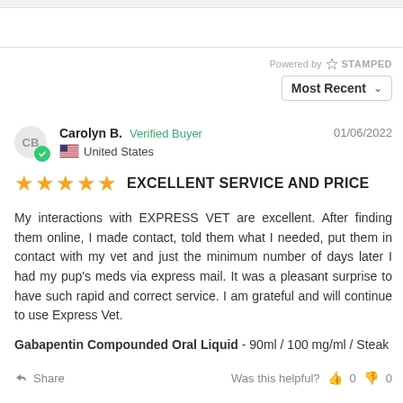Powered by STAMPED
Most Recent
Carolyn B. Verified Buyer 01/06/2022 United States
EXCELLENT SERVICE AND PRICE
My interactions with EXPRESS VET are excellent. After finding them online, I made contact, told them what I needed, put them in contact with my vet and just the minimum number of days later I had my pup's meds via express mail. It was a pleasant surprise to have such rapid and correct service. I am grateful and will continue to use Express Vet.
Gabapentin Compounded Oral Liquid - 90ml / 100 mg/ml / Steak
Share  Was this helpful? 0 0